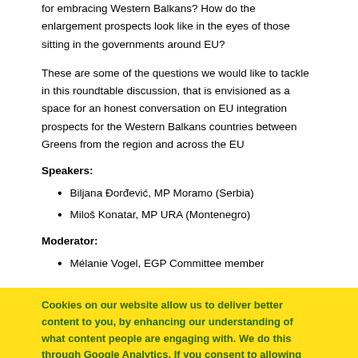for embracing Western Balkans? How do the enlargement prospects look like in the eyes of those sitting in the governments around EU?
These are some of the questions we would like to tackle in this roundtable discussion, that is envisioned as a space for an honest conversation on EU integration prospects for the Western Balkans countries between Greens from the region and across the EU
Speakers:
Biljana Đorđević, MP Moramo (Serbia)
Miloš Konatar, MP URA (Montenegro)
Moderator:
Mélanie Vogel, EGP Committee member
Cookies on our website allow us to deliver better content to you, by enhancing our understanding of what content people are engaging with. We do this through Google Analytics. If you consent to allowing